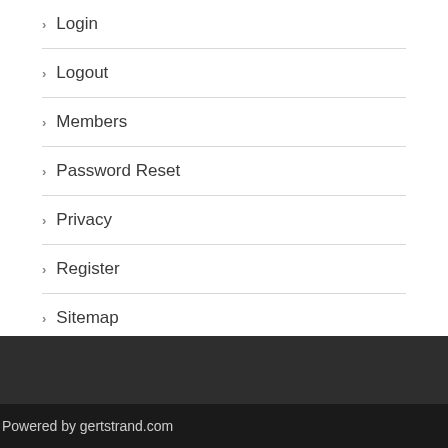Login
Logout
Members
Password Reset
Privacy
Register
Sitemap
User
Powered by gertstrand.com